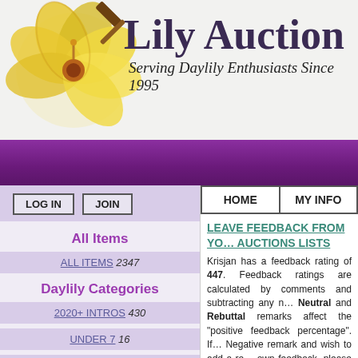[Figure (logo): Lily Auction logo: yellow hibiscus flower with a gavel, text 'Lily Auction' in dark purple serif font, subtitle 'Serving Daylily Enthusiasts Since 1995' in italic]
LOG IN   JOIN
All Items
ALL ITEMS 2347
Daylily Categories
2020+ INTROS 430
UNDER 7 16
7 UNDER 20 437
20 & OVER 318
| HOME | MY INFO |
| --- | --- |
LEAVE FEEDBACK FROM YOUR AUCTIONS LISTS
Krisjan has a feedback rating of 447. Feedback ratings are calculated by comments and subtracting any negative. Neutral and Rebuttal remarks affect the "positive feedback percentage". If you received a Negative remark and wish to add a rebuttal to your own feedback, please contact the admin and provide your username, and your comment (sellers only). See the summary to the right for all comments including neutrals. Scroll down to see comments left by others for Krisjan.